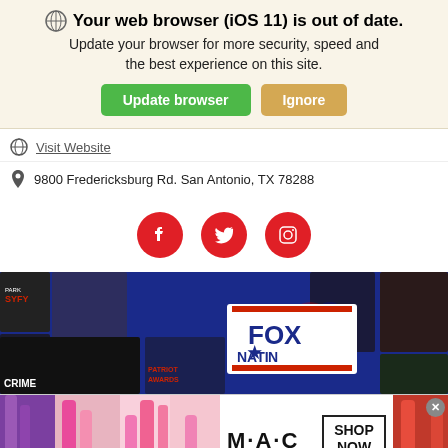🌐 Your web browser (iOS 11) is out of date. Update your browser for more security, speed and the best experience on this site.
Update browser | Ignore
Visit Website
9800 Fredericksburg Rd. San Antonio, TX 78288
[Figure (other): Social media icons: Facebook, Twitter, Instagram - red circles]
[Figure (photo): Fox Nation promotional banner with show thumbnails and FOX NATION logo on blue background]
[Figure (photo): M·A·C cosmetics advertisement showing lipsticks with SHOP NOW button]